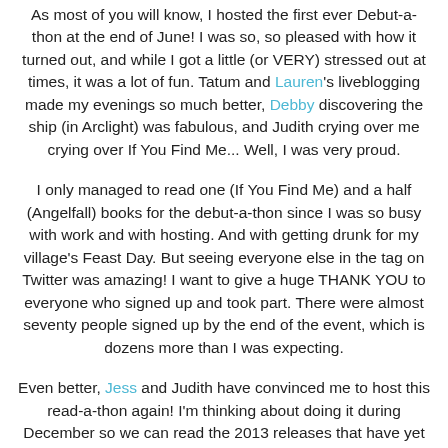As most of you will know, I hosted the first ever Debut-a-thon at the end of June! I was so, so pleased with how it turned out, and while I got a little (or VERY) stressed out at times, it was a lot of fun. Tatum and Lauren's liveblogging made my evenings so much better, Debby discovering the ship (in Arclight) was fabulous, and Judith crying over me crying over If You Find Me... Well, I was very proud.
I only managed to read one (If You Find Me) and a half (Angelfall) books for the debut-a-thon since I was so busy with work and with hosting. And with getting drunk for my village's Feast Day. But seeing everyone else in the tag on Twitter was amazing! I want to give a huge THANK YOU to everyone who signed up and took part. There were almost seventy people signed up by the end of the event, which is dozens more than I was expecting.
Even better, Jess and Judith have convinced me to host this read-a-thon again! I'm thinking about doing it during December so we can read the 2013 releases that have yet to be released, and then again next June. What do you think? Would you participate again?